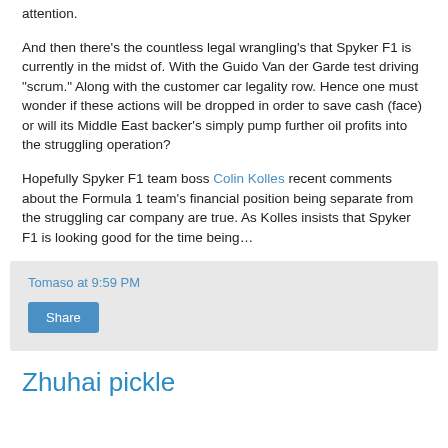attention.
And then there’s the countless legal wrangling’s that Spyker F1 is currently in the midst of. With the Guido Van der Garde test driving “scrum.” Along with the customer car legality row. Hence one must wonder if these actions will be dropped in order to save cash (face) or will its Middle East backer’s simply pump further oil profits into the struggling operation?
Hopefully Spyker F1 team boss Colin Kolles recent comments about the Formula 1 team’s financial position being separate from the struggling car company are true. As Kolles insists that Spyker F1 is looking good for the time being…
Tomaso at 9:59 PM
Share
Zhuhai pickle